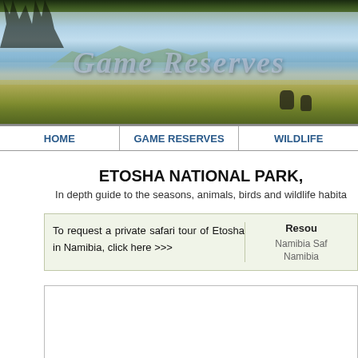[Figure (photo): Safari/Game Reserve website banner header showing a landscape with trees, mountains, water, and wildlife. Text overlay reads 'Game Reserves' in italic silver lettering.]
HOME   GAME RESERVES   WILDLIFE
ETOSHA NATIONAL PARK,
In depth guide to the seasons, animals, birds and wildlife habita
To request a private safari tour of Etosha in Namibia, click here >>>
Resou
Namibia Saf
Namibia
[Figure (photo): Empty white photo/image box with border]